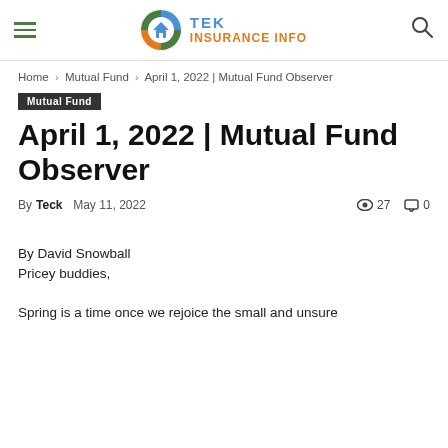TEK INSURANCE INFO
Home › Mutual Fund › April 1, 2022 | Mutual Fund Observer
Mutual Fund
April 1, 2022 | Mutual Fund Observer
By Teck  May 11, 2022  27  0
By David Snowball
Pricey buddies,
Spring is a time once we rejoice the small and unsure